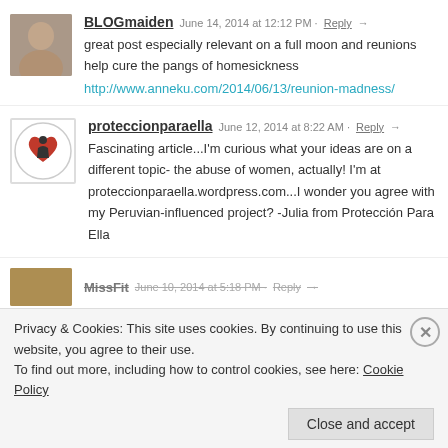BLOGmaiden — June 14, 2014 at 12:12 PM · Reply →
great post especially relevant on a full moon and reunions help cure the pangs of homesickness
http://www.anneku.com/2014/06/13/reunion-madness/
proteccionparaella — June 12, 2014 at 8:22 AM · Reply →
Fascinating article...I'm curious what your ideas are on a different topic- the abuse of women, actually! I'm at proteccionparaella.wordpress.com...I wonder you agree with my Peruvian-influenced project? -Julia from Protección Para Ella
MissFit — June 10, 2014 at 5:18 PM · Reply →
Privacy & Cookies: This site uses cookies. By continuing to use this website, you agree to their use.
To find out more, including how to control cookies, see here: Cookie Policy
Close and accept